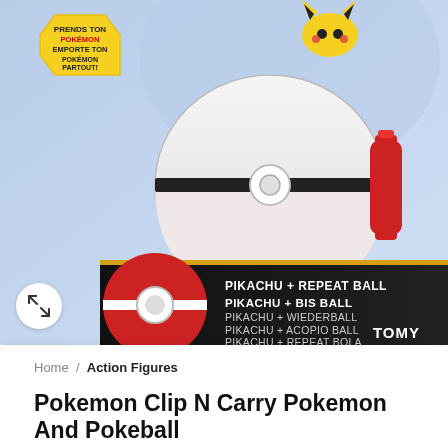[Figure (photo): Product photo of Pokemon Clip N Carry Pikachu + Repeat Ball toy in packaging by TOMY. The package shows a Pikachu figure and a large white Pokeball (Repeat Ball) with a red clip. The box is black and gold with multilingual text: PIKACHU + REPEAT BALL, PIKACHU + BIS BALL, PIKACHU + WIEDERBALL, PIKACHU + ACOPIO BALL, PIKACHU + REPEAT BOLA. TOMY branding visible. An expand/zoom icon button is in the lower left corner.]
Home / Action Figures
Pokemon Clip N Carry Pokemon And Pokeball